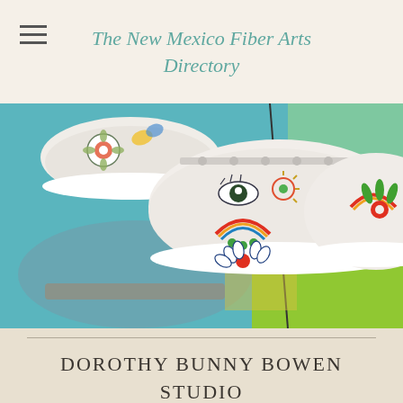The New Mexico Fiber Arts Directory
[Figure (photo): Close-up photo of white canvas sneakers decorated with colorful folk art designs including flowers, rainbows, dots, and an eye motif, placed on a painted surface with teal, blue, green, and orange brushstrokes.]
DOROTHY BUNNY BOWEN STUDIO